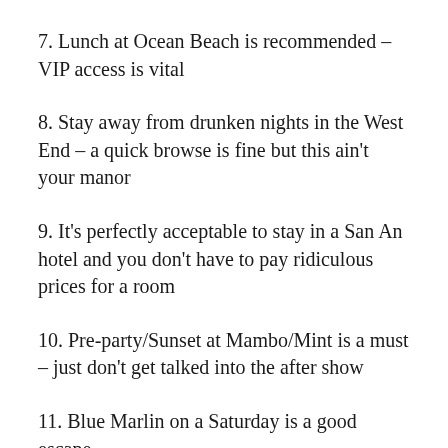7. Lunch at Ocean Beach is recommended – VIP access is vital
8. Stay away from drunken nights in the West End – a quick browse is fine but this ain't your manor
9. It's perfectly acceptable to stay in a San An hotel and you don't have to pay ridiculous prices for a room
10. Pre-party/Sunset at Mambo/Mint is a must – just don't get talked into the after show
11. Blue Marlin on a Saturday is a good escape